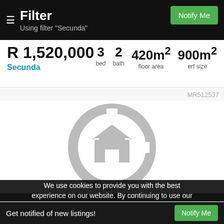Filter
Using filter "Secunda"
R 1,520,000
Secunda
3 bed  2 bath  420m² floor area  900m² erf size
MR512537
[Figure (illustration): Gray no-image placeholder icon showing a house silhouette inside a circle]
We use cookies to provide you with the best experience on our website. By continuing to use our
Get notified of new listings!